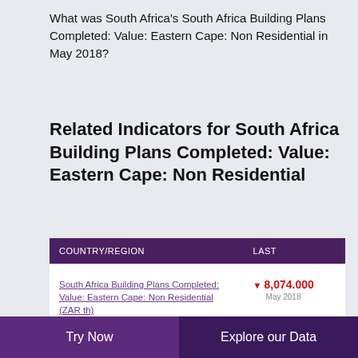What was South Africa's South Africa Building Plans Completed: Value: Eastern Cape: Non Residential in May 2018?
Related Indicators for South Africa Building Plans Completed: Value: Eastern Cape: Non Residential
| COUNTRY/REGION | LAST |
| --- | --- |
| South Africa Building Plans Completed: Value: Eastern Cape: Non Residential (ZAR th) | ▼ 8,074.000
May 2018 |
| South Africa Building Plans Completed: Value: | ▼ 1,348,231,000 |
Try Now | Explore our Data